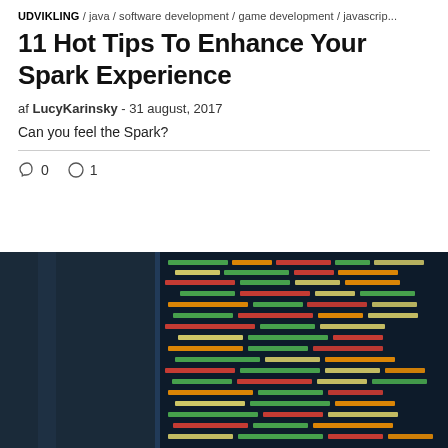UDVIKLING / java / software development / game development / javascrip...
11 Hot Tips To Enhance Your Spark Experience
af LucyKarinsky - 31 august, 2017
Can you feel the Spark?
[Figure (photo): Close-up photo of a computer monitor displaying colorful code (syntax highlighted in green, orange, red, yellow on dark background), with a blurred blue monitor visible on the left side.]